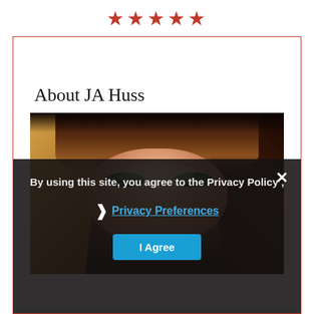[Figure (other): Five red star rating icons displayed in a row at the top of the page]
About JA Huss
[Figure (photo): Close-up portrait photo of a person with brown hair and bangs, showing primarily the eyes and forehead area with a slightly blurred/artistic quality]
By using this site, you agree to the Privacy Policy ,
❯ Privacy Preferences
I Agree